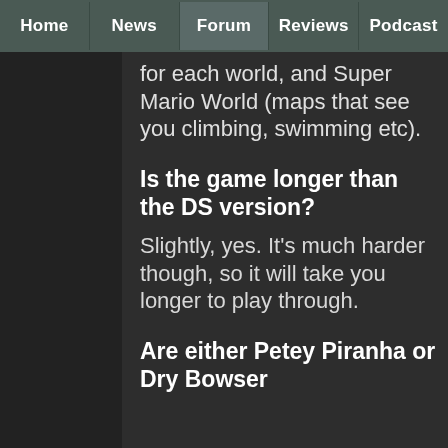Home | News | Forum | Reviews | Podcast
for each world, and Super Mario World (maps that see you climbing, swimming etc).
Is the game longer than the DS version?
Slightly, yes. It's much harder though, so it will take you longer to play through.
Are either Petey Piranha or Dry Bowser